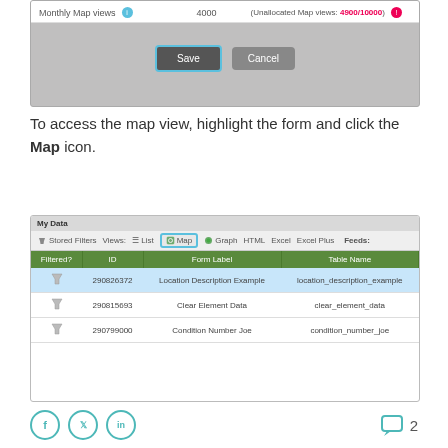[Figure (screenshot): UI screenshot showing Monthly Map views field with value 4000, Unallocated Map views 4900/10000, Save and Cancel buttons]
To access the map view, highlight the form and click the Map icon.
[Figure (screenshot): UI screenshot showing My Data table with Stored Filters, Views options (List, Map highlighted, Graph, HTML, Excel, Excel Plus, Feeds), and rows: Location Description Example (290826372, location_description_example), Clear Element Data (290815693, clear_element_data), Condition Number Joe (290799000, condition_number_joe)]
[Figure (infographic): Social sharing icons (Facebook, Twitter, LinkedIn) on left, comment bubble with count 2 on right]